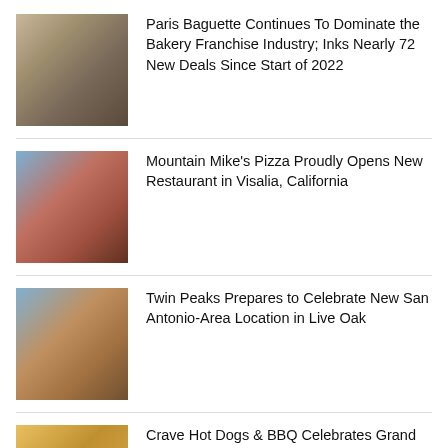Paris Baguette Continues To Dominate the Bakery Franchise Industry; Inks Nearly 72 New Deals Since Start of 2022
Mountain Mike's Pizza Proudly Opens New Restaurant in Visalia, California
Twin Peaks Prepares to Celebrate New San Antonio-Area Location in Live Oak
Crave Hot Dogs & BBQ Celebrates Grand Opening in Venice, Florida!
El Pollo Loco Heats Up Value Selection with New Fire-Grilled Combos & Family Feast Offerings
Rush Bowls Announces New Locations